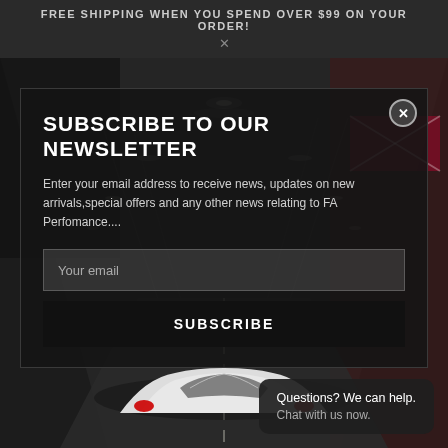FREE SHIPPING WHEN YOU SPEND OVER $99 ON YOUR ORDER!
[Figure (screenshot): Dark tunnel background with a white Ferrari sports car driving through a dimly lit tunnel. Tunnel lights along the ceiling, dark reddish walls on the right side.]
SUBSCRIBE TO OUR NEWSLETTER
Enter your email address to receive news, updates on new arrivals,special offers and any other news relating to FA Perfomance....
Your email
SUBSCRIBE
Questions? We can help.
Chat with us now.